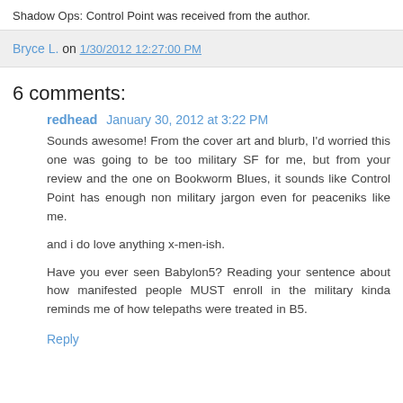Shadow Ops: Control Point was received from the author.
Bryce L. on 1/30/2012 12:27:00 PM
6 comments:
redhead  January 30, 2012 at 3:22 PM
Sounds awesome! From the cover art and blurb, I'd worried this one was going to be too military SF for me, but from your review and the one on Bookworm Blues, it sounds like Control Point has enough non military jargon even for peaceniks like me.

and i do love anything x-men-ish.

Have you ever seen Babylon5? Reading your sentence about how manifested people MUST enroll in the military kinda reminds me of how telepaths were treated in B5.
Reply